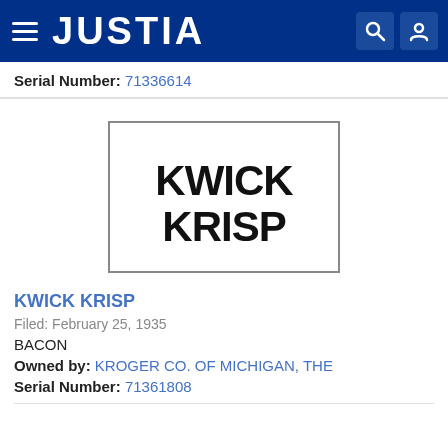JUSTIA
Serial Number: 71336614
[Figure (logo): Trademark logo image showing stylized text 'KWICK KRISP' in bold black letters inside a rectangular border]
KWICK KRISP
Filed: February 25, 1935
BACON
Owned by: KROGER CO. OF MICHIGAN, THE
Serial Number: 71361808